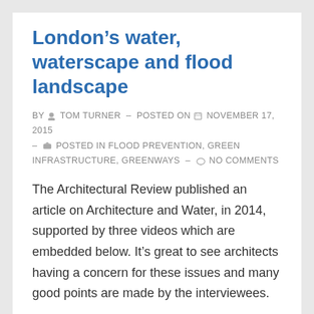London’s water, waterscape and flood landscape
BY TOM TURNER - POSTED ON NOVEMBER 17, 2015 - POSTED IN FLOOD PREVENTION, GREEN INFRASTRUCTURE, GREENWAYS - NO COMMENTS
The Architectural Review published an article on Architecture and Water, in 2014, supported by three videos which are embedded below. It’s great to see architects having a concern for these issues and many good points are made by the interviewees. …
Read more »